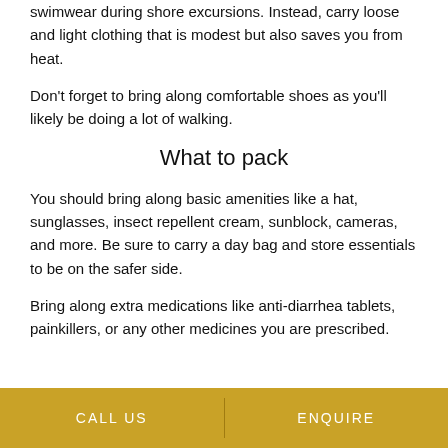swimwear during shore excursions. Instead, carry loose and light clothing that is modest but also saves you from heat.
Don't forget to bring along comfortable shoes as you'll likely be doing a lot of walking.
What to pack
You should bring along basic amenities like a hat, sunglasses, insect repellent cream, sunblock, cameras, and more. Be sure to carry a day bag and store essentials to be on the safer side.
Bring along extra medications like anti-diarrhea tablets, painkillers, or any other medicines you are prescribed.
CALL US   ENQUIRE